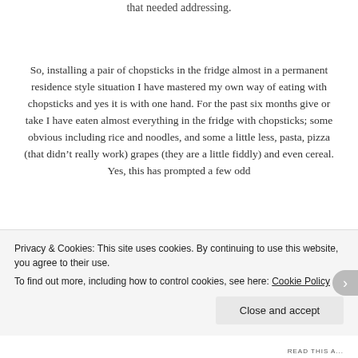that needed addressing.
So, installing a pair of chopsticks in the fridge almost in a permanent residence style situation I have mastered my own way of eating with chopsticks and yes it is with one hand. For the past six months give or take I have eaten almost everything in the fridge with chopsticks; some obvious including rice and noodles, and some a little less, pasta, pizza (that didn’t really work) grapes (they are a little fiddly) and even cereal. Yes, this has prompted a few odd
Privacy & Cookies: This site uses cookies. By continuing to use this website, you agree to their use.
To find out more, including how to control cookies, see here: Cookie Policy
Close and accept